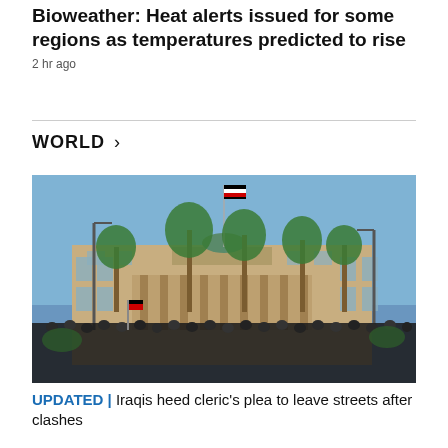Bioweather: Heat alerts issued for some regions as temperatures predicted to rise
2 hr ago
WORLD >
[Figure (photo): Large crowd of people gathered in front of a multi-story beige stone government building with columns and a flagpole flying the Iraqi flag, flanked by tall palm trees under a clear blue sky.]
UPDATED | Iraqis heed cleric's plea to leave streets after clashes